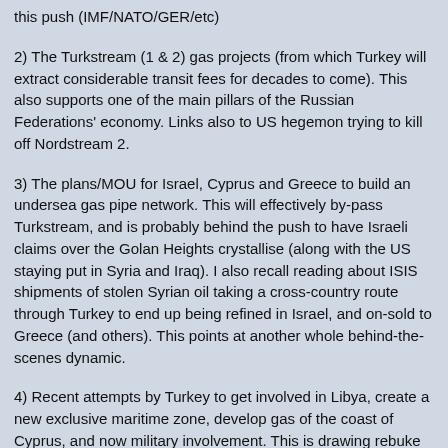this push (IMF/NATO/GER/etc)
2) The Turkstream (1 & 2) gas projects (from which Turkey will extract considerable transit fees for decades to come). This also supports one of the main pillars of the Russian Federations' economy. Links also to US hegemon trying to kill off Nordstream 2.
3) The plans/MOU for Israel, Cyprus and Greece to build an undersea gas pipe network. This will effectively by-pass Turkstream, and is probably behind the push to have Israeli claims over the Golan Heights crystallise (along with the US staying put in Syria and Iraq). I also recall reading about ISIS shipments of stolen Syrian oil taking a cross-country route through Turkey to end up being refined in Israel, and on-sold to Greece (and others). This points at another whole behind-the-scenes dynamic.
4) Recent attempts by Turkey to get involved in Libya, create a new exclusive maritime zone, develop gas of the coast of Cyprus, and now military involvement. This is drawing rebuke from Israel, as it will scupper their planned pipe network. Greece likewise is now trying to send in troops (as observers/peace-keepers, LOL). Cyprus is also rallying around to try and stop the Turkish plan from going ahead.
5) Recent arrests of Israeli intel assets in Cyprus of late also adds further heat to the situation.